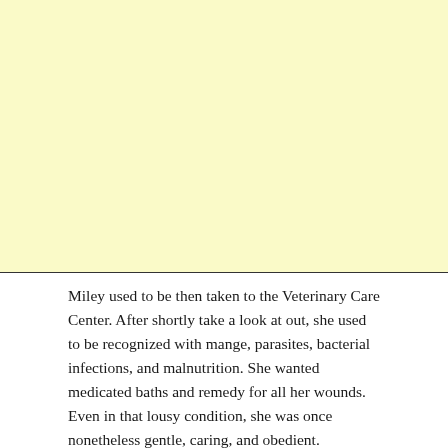[Figure (other): Large yellow/cream colored blank area occupying the top portion of the page]
Miley used to be then taken to the Veterinary Care Center. After shortly take a look at out, she used to be recognized with mange, parasites, bacterial infections, and malnutrition. She wanted medicated baths and remedy for all her wounds. Even in that lousy condition, she was once nonetheless gentle, caring, and obedient.